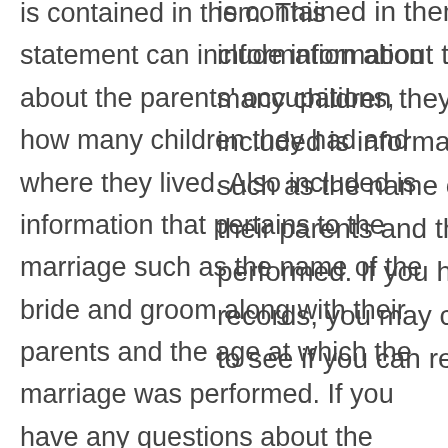is contained in them. This statement can include information about the parents' occupations, how many children they had and where they lived. Also included is information that pertains to the marriage such as the name of the bride and groom along with their parents and the age at which the marriage was performed. If you have any questions about the records, you may contact the county recorder's office to see if you can receive a copy.
State laws require that the proper documentation is available for